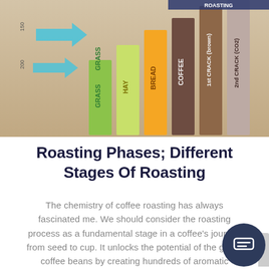[Figure (infographic): A bar chart infographic showing roasting phases/stages with labeled bars: GRASS (green), HAY (yellow-green), BREAD (orange), COFFEE (brown), 1st CRACK (brown), 2nd CRACK (CO2) (tan/beige). Blue arrows indicate temperature or time axis on the left side.]
Roasting Phases; Different Stages Of Roasting
The chemistry of coffee roasting has always fascinated me. We should consider the roasting process as a fundamental stage in a coffee's journey from seed to cup. It unlocks the potential of the green coffee beans by creating hundreds of aromatic compounds. It also makes the beans brittle and porous enough to prepare the coffee for